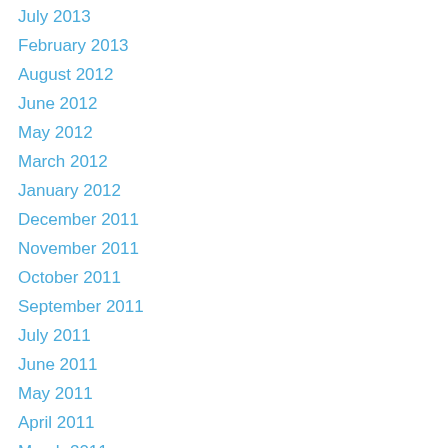July 2013
February 2013
August 2012
June 2012
May 2012
March 2012
January 2012
December 2011
November 2011
October 2011
September 2011
July 2011
June 2011
May 2011
April 2011
March 2011
February 2011
January 2011
December 2010
November 2010